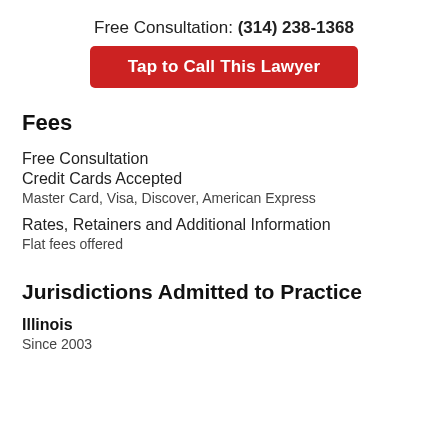Free Consultation: (314) 238-1368
[Figure (other): Red button with white bold text: Tap to Call This Lawyer]
Fees
Free Consultation
Credit Cards Accepted
Master Card, Visa, Discover, American Express
Rates, Retainers and Additional Information
Flat fees offered
Jurisdictions Admitted to Practice
Illinois
Since 2003